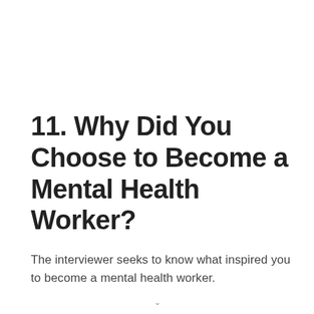11. Why Did You Choose to Become a Mental Health Worker?
The interviewer seeks to know what inspired you to become a mental health worker.